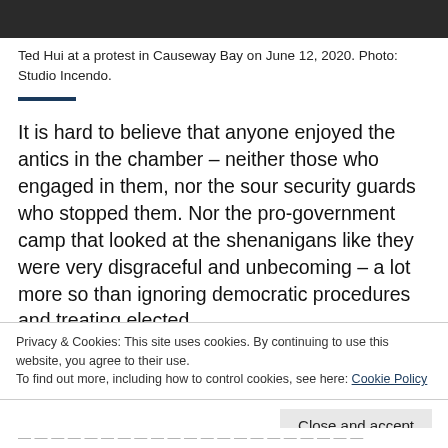[Figure (photo): Dark photo strip showing a street scene, partially cropped at top]
Ted Hui at a protest in Causeway Bay on June 12, 2020. Photo: Studio Incendo.
It is hard to believe that anyone enjoyed the antics in the chamber – neither those who engaged in them, nor the sour security guards who stopped them. Nor the pro-government camp that looked at the shenanigans like they were very disgraceful and unbecoming – a lot more so than ignoring democratic procedures and treating elected
Privacy & Cookies: This site uses cookies. By continuing to use this website, you agree to their use.
To find out more, including how to control cookies, see here: Cookie Policy
Close and accept